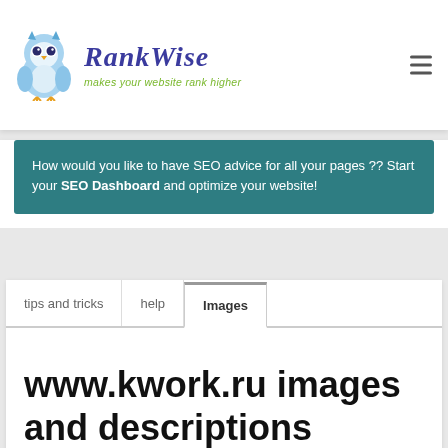RankWise — makes your website rank higher
How would you like to have SEO advice for all your pages ?? Start your SEO Dashboard and optimize your website!
tips and tricks | help | Images
www.kwork.ru images and descriptions